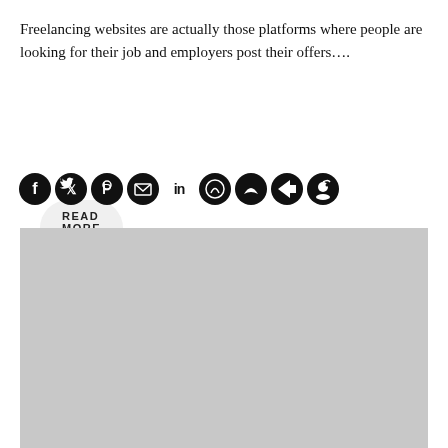Freelancing websites are actually those platforms where people are looking for their job and employers post their offers….
READ MORE >
[Figure (illustration): Row of social media sharing icons: Facebook, Twitter, Pinterest, Email, LinkedIn, WhatsApp, Messenger, Telegram, Reddit]
[Figure (photo): Large gray placeholder image block]